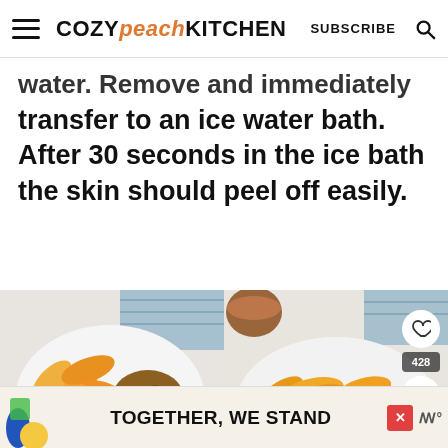COZY peach KITCHEN  SUBSCRIBE
water. Remove and immediately transfer to an ice water bath. After 30 seconds in the ice bath the skin should peel off easily.
[Figure (photo): Two food photos side by side: left shows a bowl of peach slices with granola on a white background with a blue cloth; right shows a bowl of sautéed peach slices with a cup of drink and a blue cloth in the background.]
[Figure (infographic): Advertisement banner with colorful abstract graphic on the left, bold text TOGETHER, WE STAND in center, close X button, and MW logo on right.]